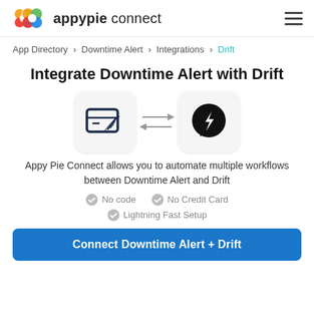appypie connect
App Directory > Downtime Alert > Integrations > Drift
Integrate Downtime Alert with Drift
[Figure (infographic): Two app icons with bidirectional arrows between them: Downtime Alert (terminal/broadcast icon, dark blue on light background) and Drift (lightning bolt in speech bubble, white on black circle, on light background)]
Appy Pie Connect allows you to automate multiple workflows between Downtime Alert and Drift
No code
No Credit Card
Lightning Fast Setup
Connect Downtime Alert + Drift